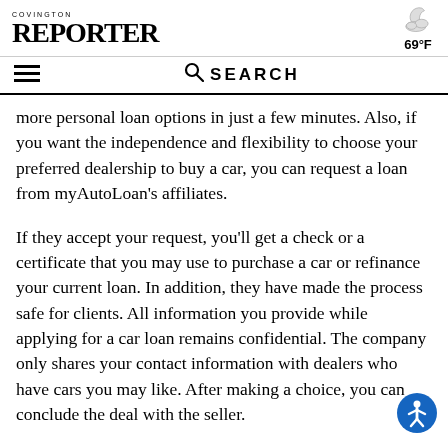COVINGTON REPORTER  69°F
☰  🔍 SEARCH
more personal loan options in just a few minutes. Also, if you want the independence and flexibility to choose your preferred dealership to buy a car, you can request a loan from myAutoLoan's affiliates.
If they accept your request, you'll get a check or a certificate that you may use to purchase a car or refinance your current loan. In addition, they have made the process safe for clients. All information you provide while applying for a car loan remains confidential. The company only shares your contact information with dealers who have cars you may like. After making a choice, you can conclude the deal with the seller.